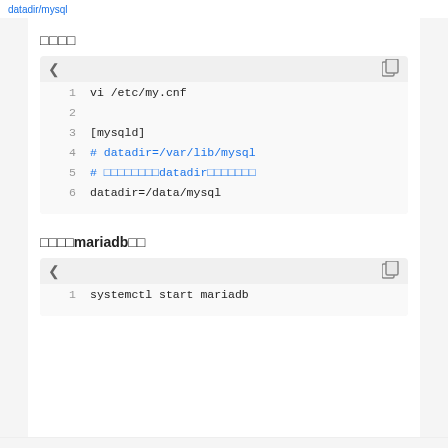datadir/mysql
□□□□
Code block:
1  vi /etc/my.cnf
2
3  [mysqld]
4  # datadir=/var/lib/mysql
5  # □□□□□□□□datadir□□□□□□□
6  datadir=/data/mysql
□□□□mariadb□□
Code block:
1  systemctl start mariadb